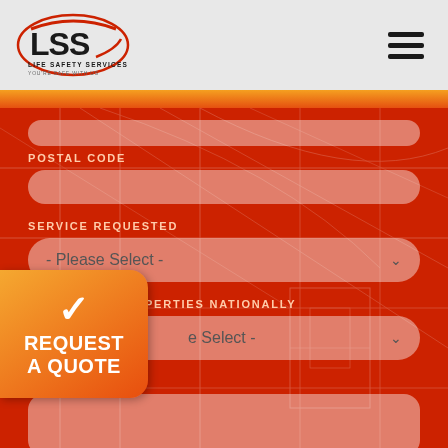[Figure (logo): LSS Life Safety Services logo with red oval, text 'LSS' in bold and tagline 'You're Safe With Us']
POSTAL CODE
SERVICE REQUESTED
- Please Select -
NUMBER OF PROPERTIES NATIONALLY
- Please Select -
TION
[Figure (infographic): REQUEST A QUOTE orange badge with checkmark]
REQUEST A QUOTE